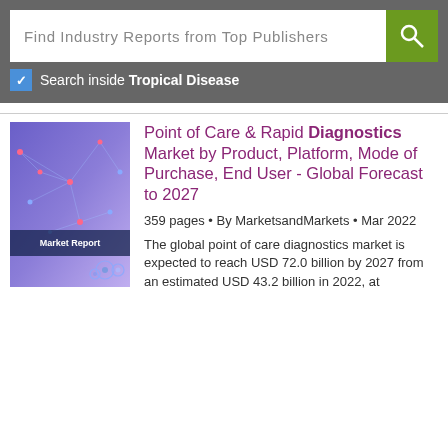Find Industry Reports from Top Publishers
Search inside Tropical Disease
[Figure (illustration): Market Report book cover with blue/purple gradient background, network dots and lines, and a Market Report label banner]
Point of Care & Rapid Diagnostics Market by Product, Platform, Mode of Purchase, End User - Global Forecast to 2027
359 pages • By MarketsandMarkets • Mar 2022
The global point of care diagnostics market is expected to reach USD 72.0 billion by 2027 from an estimated USD 43.2 billion in 2022, at